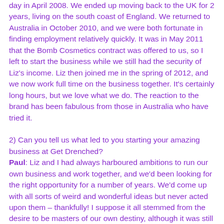day in April 2008. We ended up moving back to the UK for 2 years, living on the south coast of England. We returned to Australia in October 2010, and we were both fortunate in finding employment relatively quickly. It was in May 2011 that the Bomb Cosmetics contract was offered to us, so I left to start the business while we still had the security of Liz's income. Liz then joined me in the spring of 2012, and we now work full time on the business together. It's certainly long hours, but we love what we do. The reaction to the brand has been fabulous from those in Australia who have tried it.
2) Can you tell us what led to you starting your amazing business at Get Drenched?
Paul: Liz and I had always harboured ambitions to run our own business and work together, and we'd been looking for the right opportunity for a number of years. We'd come up with all sorts of weird and wonderful ideas but never acted upon them – thankfully! I suppose it all stemmed from the desire to be masters of our own destiny, although it was still a huge decision to move away from the relevant comfort of salaried jobs to jump into the unknown. Looking back now